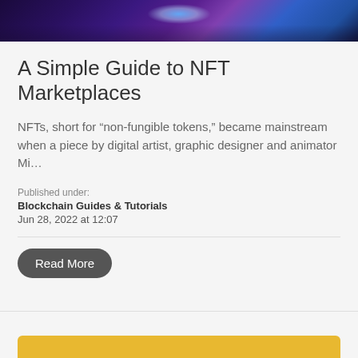[Figure (photo): Dark atmospheric image with blue and purple hues, featuring a bright light glare in the center, likely a digital/blockchain themed hero image]
A Simple Guide to NFT Marketplaces
NFTs, short for “non-fungible tokens,” became mainstream when a piece by digital artist, graphic designer and animator Mi…
Published under:
Blockchain Guides & Tutorials
Jun 28, 2022 at 12:07
Read More